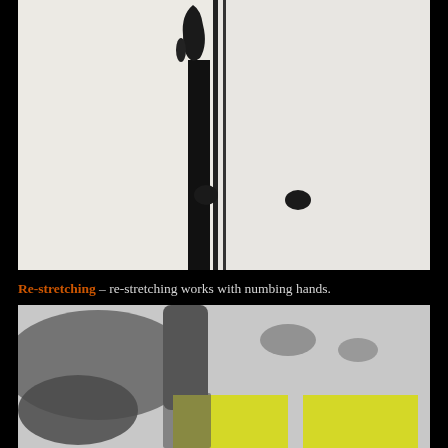[Figure (photo): Close-up photograph of two white/cream canvases placed side by side, with bold black abstract brushstroke/paint marks running vertically near their edges, on a dark background.]
Re-stretching – re-stretching works with numbing hands.
[Figure (photo): Photograph of an abstract artwork in progress showing gray painted forms and two bright yellow rectangular shapes on a light background.]